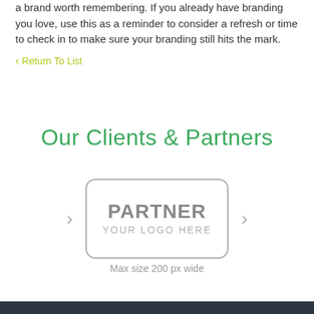a brand worth remembering. If you already have branding you love, use this as a reminder to consider a refresh or time to check in to make sure your branding still hits the mark.
< Return To List
Our Clients & Partners
[Figure (other): A partner logo placeholder box with rounded rectangle border, text 'PARTNER' in bold gray and 'YOUR LOGO HERE' below it, flanked by left and right navigation arrows, with caption 'Max size 200 px wide']
Max size 200 px wide